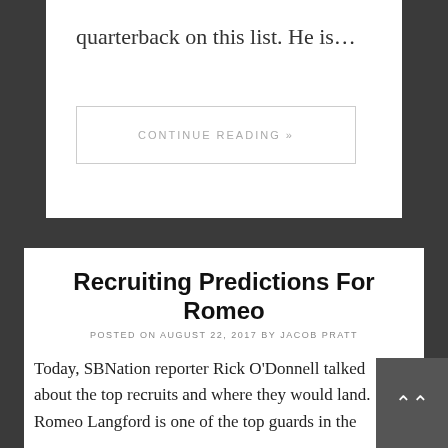quarterback on this list. He is…
CONTINUE READING »
Recruiting Predictions For Romeo
POSTED ON AUGUST 22, 2017 BY JACOB PRATT
Today, SBNation reporter Rick O'Donnell talked about the top recruits and where they would land. Romeo Langford is one of the top guards in the